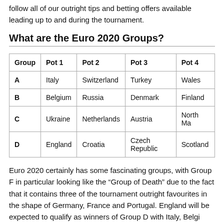follow all of our outright tips and betting offers available leading up to and during the tournament.
What are the Euro 2020 Groups?
| Group | Pot 1 | Pot 2 | Pot 3 | Pot 4 |
| --- | --- | --- | --- | --- |
| A | Italy | Switzerland | Turkey | Wales |
| B | Belgium | Russia | Denmark | Finland |
| C | Ukraine | Netherlands | Austria | North Ma… |
| D | England | Croatia | Czech Republic | Scotland |
Euro 2020 certainly has some fascinating groups, with Group F in particular looking like the "Group of Death" due to the fact that it contains three of the tournament outright favourites in the shape of Germany, France and Portugal. England will be expected to qualify as winners of Group D with Italy, Belgium…